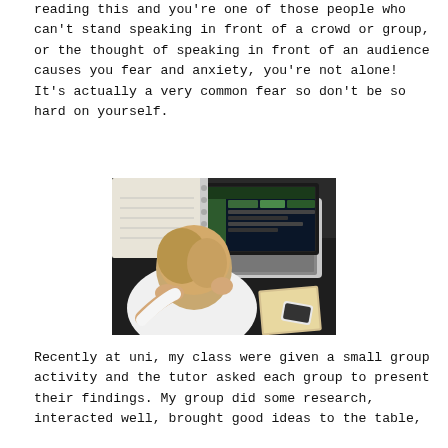reading this and you're one of those people who can't stand speaking in front of a crowd or group, or the thought of speaking in front of an audience causes you fear and anxiety, you're not alone! It's actually a very common fear so don't be so hard on yourself.
[Figure (photo): Overhead view of a stressed person with head down on a desk, with a laptop, notebook, and phone visible on a dark desk surface.]
Recently at uni, my class were given a small group activity and the tutor asked each group to present their findings. My group did some research, interacted well, brought good ideas to the table,